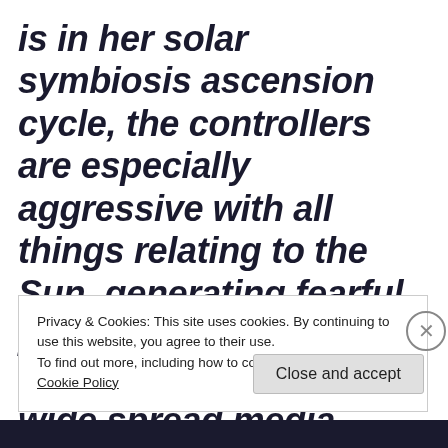is in her solar symbiosis ascension cycle, the controllers are especially aggressive with all things relating to the Sun, generating fearful propaganda to control the masses. Thus, the wide spread media publishing papers on the destruction of the ozone layer is largely a psychological operation by those
Privacy & Cookies: This site uses cookies. By continuing to use this website, you agree to their use.
To find out more, including how to control cookies, see here: Cookie Policy
Close and accept